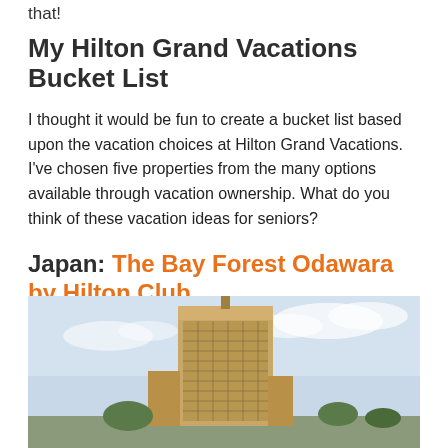that!
My Hilton Grand Vacations Bucket List
I thought it would be fun to create a bucket list based upon the vacation choices at Hilton Grand Vacations. I've chosen five properties from the many options available through vacation ownership. What do you think of these vacation ideas for seniors?
Japan: The Bay Forest Odawara by Hilton Club
[Figure (photo): Exterior photo of a tall modern hotel building (The Bay Forest Odawara by Hilton Club) with sky in the background]